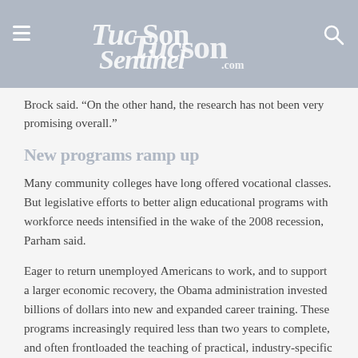TucsonSentinel.com
Brock said. “On the other hand, the research has not been very promising overall.”
New programs ramp up
Many community colleges have long offered vocational classes. But legislative efforts to better align educational programs with workforce needs intensified in the wake of the 2008 recession, Parham said.
Eager to return unemployed Americans to work, and to support a larger economic recovery, the Obama administration invested billions of dollars into new and expanded career training. These programs increasingly required less than two years to complete, and often frontloaded the teaching of practical, industry-specific skills that allowed students to work while finishing their